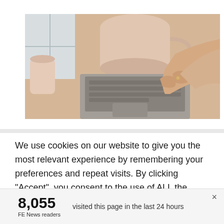[Figure (photo): Person in beige sweater typing on a laptop keyboard, with a mug and soft natural light in the background]
We use cookies on our website to give you the most relevant experience by remembering your preferences and repeat visits. By clicking “Accept”, you consent to the use of ALL the cookies. However you may visit Cookie
8,055
FE News readers
visited this page in the last 24 hours